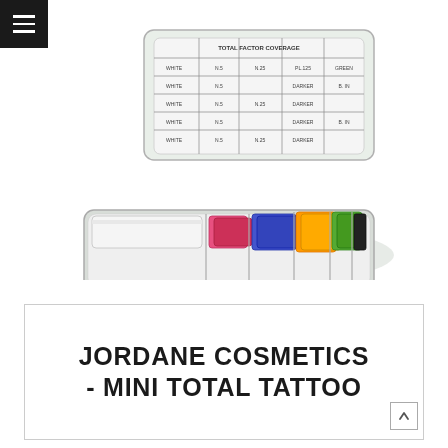[Figure (photo): A transparent plastic cosmetics palette case open, showing colorful makeup sticks or crayons in white, pink, red, purple/blue, orange, green, and black, with a reference chart inside the lid.]
JORDANE COSMETICS - MINI TOTAL TATTOO